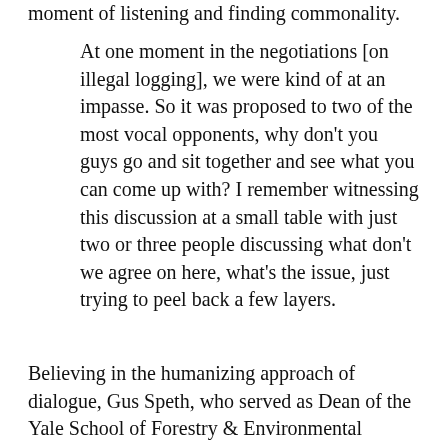moment of listening and finding commonality.
At one moment in the negotiations [on illegal logging], we were kind of at an impasse. So it was proposed to two of the most vocal opponents, why don't you guys go and sit together and see what you can come up with? I remember witnessing this discussion at a small table with just two or three people discussing what don't we agree on here, what's the issue, just trying to peel back a few layers.
Believing in the humanizing approach of dialogue, Gus Speth, who served as Dean of the Yale School of Forestry & Environmental Studies, worked with